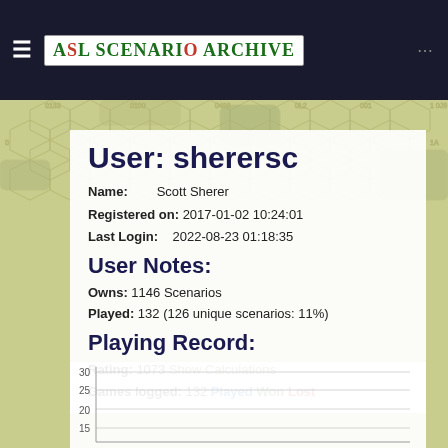ASL Scenario Archive
User: sherersc
Name: Scott Sherer
Registered on: 2017-01-02 10:24:01
Last Login: 2022-08-23 01:18:35
User Notes:
Owns: 1146 Scenarios
Played: 132 (126 unique scenarios: 11%)
Playing Record:
Rating: 1073 Show Calculations
Games logged: 132 Played Won Lost
[Figure (bar-chart): Partially visible bar chart showing games played/won/lost over time, y-axis showing values 15-30]